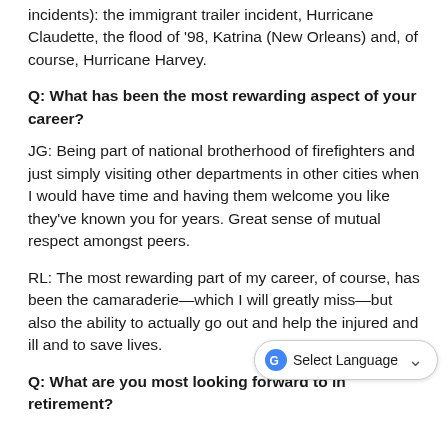incidents): the immigrant trailer incident, Hurricane Claudette, the flood of '98, Katrina (New Orleans) and, of course, Hurricane Harvey.
Q: What has been the most rewarding aspect of your career?
JG: Being part of national brotherhood of firefighters and just simply visiting other departments in other cities when I would have time and having them welcome you like they've known you for years. Great sense of mutual respect amongst peers.
RL: The most rewarding part of my career, of course, has been the camaraderie—which I will greatly miss—but also the ability to actually go out and help the injured and ill and to save lives.
Q: What are you most looking forward to in retirement?